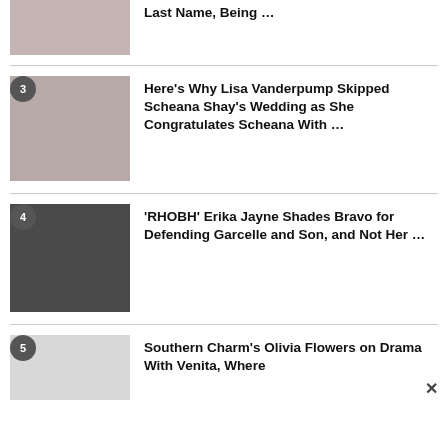[Figure (photo): Partial article thumbnail at top of page]
Last Name, Being …
[Figure (photo): Article 3 thumbnail showing two women]
Here's Why Lisa Vanderpump Skipped Scheana Shay's Wedding as She Congratulates Scheana With …
[Figure (photo): Article 4 thumbnail showing blonde woman in black]
'RHOBH' Erika Jayne Shades Bravo for Defending Garcelle and Son, and Not Her …
[Figure (photo): Article 5 thumbnail placeholder]
Southern Charm's Olivia Flowers on Drama With Venita, Where